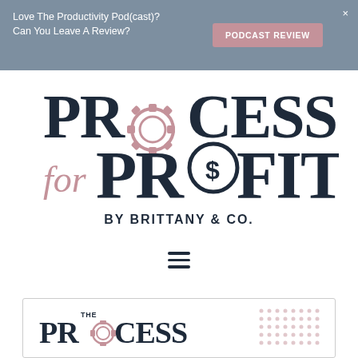Love The Productivity Pod(cast)? Can You Leave A Review?
[Figure (logo): Process for Profit by Brittany & Co. logo — dark navy serif text 'PROCESS' with a gear icon replacing the 'O', below it cursive 'for' in rose/pink and bold 'PROFIT' with a dollar-sign circle replacing the 'O', subtitle 'BY BRITTANY & CO.' in navy sans-serif]
[Figure (other): Hamburger menu icon — three horizontal dark navy lines]
[Figure (logo): Partial 'THE PROCESS' logo in a bordered white box at the bottom, with a decorative pink dot pattern on the right side]